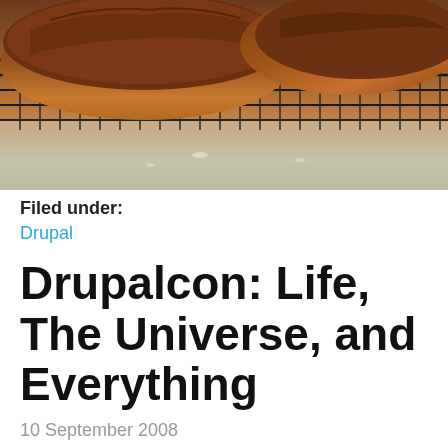[Figure (photo): Photo of two rustic artisan bread loaves resting on a metal cooling rack, shot from above, with a countertop visible below.]
Filed under:
Drupal
Drupalcon: Life, The Universe, and Everything
10 September 2008